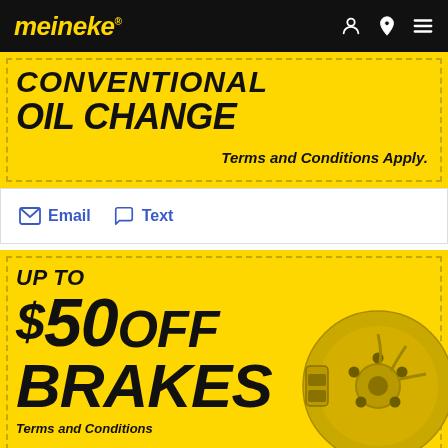meineke
[Figure (screenshot): Partial yellow coupon for Conventional Oil Change with dashed border. Text reads 'CONVENTIONAL OIL CHANGE' and 'Terms and Conditions Apply.']
Email   Text
[Figure (screenshot): Yellow coupon with dashed border. Text reads 'UP TO $50 OFF BRAKES Terms and Conditions'. A brake disc illustration appears on the right side.]